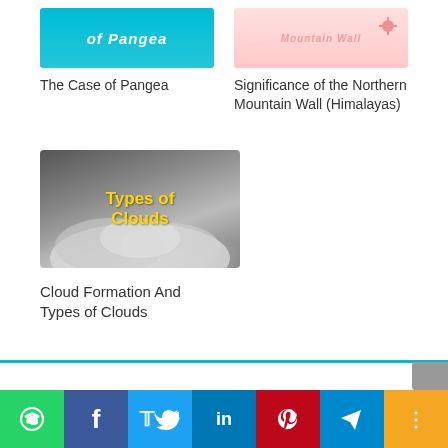[Figure (illustration): Thumbnail image for 'The Case of Pangea' - teal/cyan background with bold italic white text 'of Pangea']
The Case of Pangea
[Figure (illustration): Thumbnail image for 'Significance of the Northern Mountain Wall (Himalayas)' - light pink background with red sun decoration and italic pink text]
Significance of the Northern Mountain Wall (Himalayas)
[Figure (photo): Thumbnail image showing clouds/fog in dark landscape with bold yellow text 'Types of Clouds' overlaid]
Cloud Formation And Types of Clouds
[Figure (infographic): Social sharing bar with WhatsApp, Facebook, Twitter, LinkedIn, Pinterest, Telegram, and more share buttons]